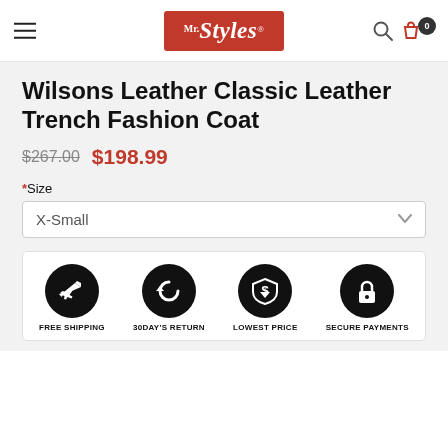Mr. Styles
Wilsons Leather Classic Leather Trench Fashion Coat
$267.00  $198.99
*Size  X-Small
[Figure (infographic): Four black circular icons with white symbols representing: FREE SHIPPING (airplane), 30DAY'S RETURN (return arrow), LOWEST PRICE (dollar sign with down arrow), SECURE PAYMENTS (padlock)]